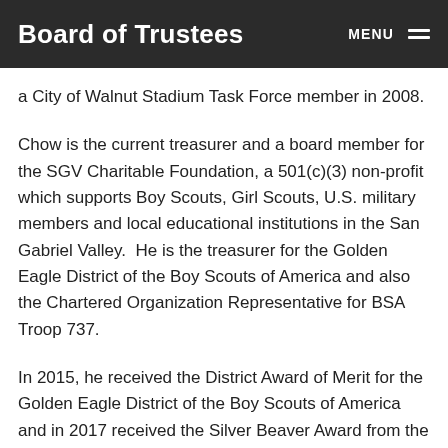Board of Trustees
a City of Walnut Stadium Task Force member in 2008.
Chow is the current treasurer and a board member for the SGV Charitable Foundation, a 501(c)(3) non-profit which supports Boy Scouts, Girl Scouts, U.S. military members and local educational institutions in the San Gabriel Valley.  He is the treasurer for the Golden Eagle District of the Boy Scouts of America and also the Chartered Organization Representative for BSA Troop 737.
In 2015, he received the District Award of Merit for the Golden Eagle District of the Boy Scouts of America and in 2017 received the Silver Beaver Award from the Greater Los Angeles Area Council of the Boy Scouts of America.